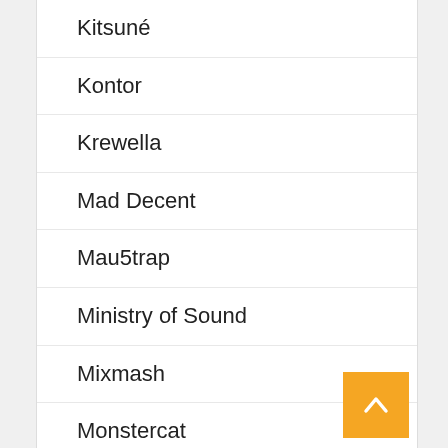Kitsuné
Kontor
Krewella
Mad Decent
Mau5trap
Ministry of Sound
Mixmash
Monstercat
Musical Freedom
Never Say Die
Owsla